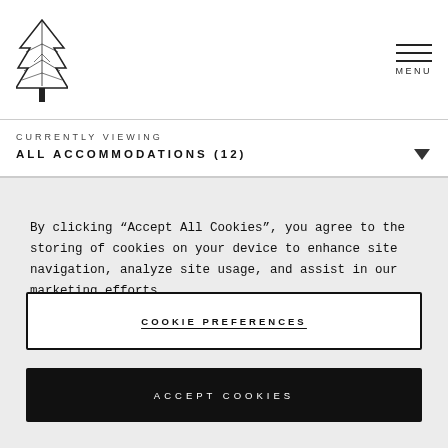[Figure (logo): Pine tree / evergreen tree logo illustration in black ink]
MENU
CURRENTLY VIEWING
ALL ACCOMMODATIONS (12)
By clicking “Accept All Cookies”, you agree to the storing of cookies on your device to enhance site navigation, analyze site usage, and assist in our marketing efforts.
COOKIE PREFERENCES
ACCEPT COOKIES